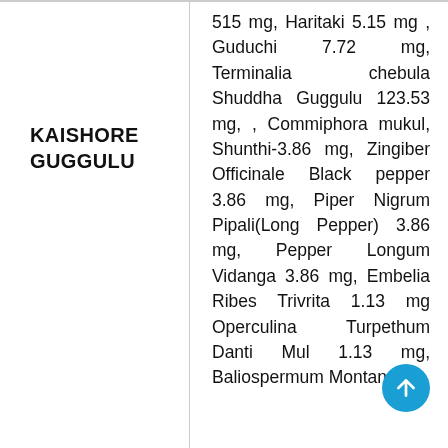KAISHORE GUGGULU
515 mg, Haritaki 5.15 mg , Guduchi 7.72 mg, Terminalia chebula Shuddha Guggulu 123.53 mg, , Commiphora mukul, Shunthi-3.86 mg, Zingiber Officinale Black pepper 3.86 mg, Piper Nigrum Pipali(Long Pepper) 3.86 mg, Pepper Longum Vidanga 3.86 mg, Embelia Ribes Trivrita 1.13 mg Operculina Turpethum Danti Mul 1.13 mg, Baliospermum Montanum